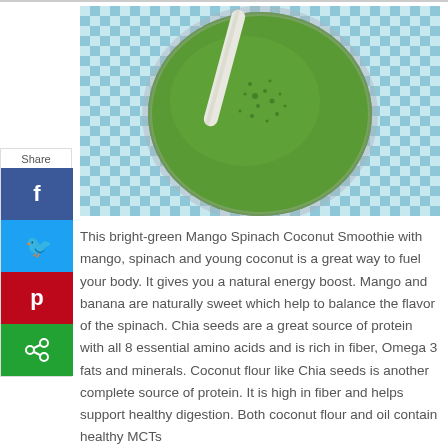[Figure (photo): Top-down view of a bright green Mango Spinach Coconut Smoothie in a glass with a striped straw, placed on a blue and white checkered tablecloth.]
This bright-green Mango Spinach Coconut Smoothie with mango, spinach and young coconut is a great way to fuel your body. It gives you a natural energy boost. Mango and banana are naturally sweet which help to balance the flavor of the spinach. Chia seeds are a great source of protein with all 8 essential amino acids and is rich in fiber, Omega 3 fats and minerals. Coconut flour like Chia seeds is another complete source of protein. It is high in fiber and helps support healthy digestion. Both coconut flour and oil contain healthy MCTs